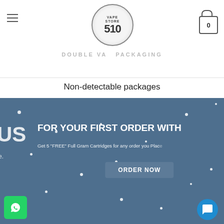[Figure (logo): Vape Store 510 circular logo with stylized text and cloud graphic]
DOUBLE VAC PACKAGING
Non-detectable packages
[Figure (infographic): Dark blue promotional banner with snow/dot background, partial text 'US' on left, 'FOR YOUR FIRST ORDER WITH' in large white text, subtitle 'Get 5 "FREE" Full Gram Cartridges for any order you Place', ORDER NOW button, WhatsApp green button bottom-left, blue chat bubble button bottom-right]